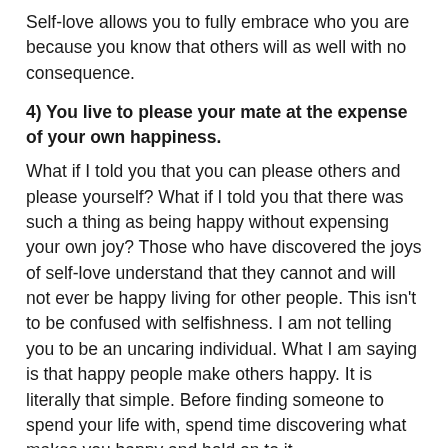Self-love allows you to fully embrace who you are because you know that others will as well with no consequence.
4) You live to please your mate at the expense of your own happiness.
What if I told you that you can please others and please yourself? What if I told you that there was such a thing as being happy without expensing your own joy? Those who have discovered the joys of self-love understand that they cannot and will not ever be happy living for other people. This isn't to be confused with selfishness. I am not telling you to be an uncaring individual. What I am saying is that happy people make others happy. It is literally that simple. Before finding someone to spend your life with, spend time discovering what makes you happy and hold on to it.
5) You feel there's nothing to love about you.
This last point is critical. In fact, it is the basis for the above four points. If you do not love you, if you do not respect who